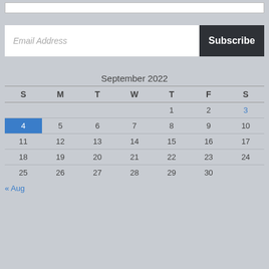Email Address
Subscribe
| S | M | T | W | T | F | S |
| --- | --- | --- | --- | --- | --- | --- |
|  |  |  |  | 1 | 2 | 3 |
| 4 | 5 | 6 | 7 | 8 | 9 | 10 |
| 11 | 12 | 13 | 14 | 15 | 16 | 17 |
| 18 | 19 | 20 | 21 | 22 | 23 | 24 |
| 25 | 26 | 27 | 28 | 29 | 30 |  |
« Aug